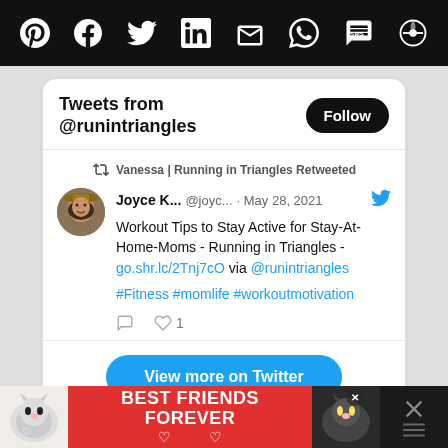[Figure (screenshot): Top black navigation bar with social sharing icons: Pinterest, Facebook, Twitter, LinkedIn, Email, WhatsApp, SMS, and another icon]
Tweets from @runintriangles
Follow
Vanessa | Running in Triangles Retweeted
[Figure (photo): Round avatar photo of a woman wearing a hat, smiling]
Joyce K... @joyc... · May 28, 2021
Workout Tips to Stay Active for Stay-At-Home-Moms - Running in Triangles - go.shr.lc/2Tnj7cO via @runintriangles
#Fitness #momlife #workoutmotivation
View more on Twitter
[Figure (photo): Bottom advertisement banner: BEST FRIENDS FOREVER with cat images on pink/red background]